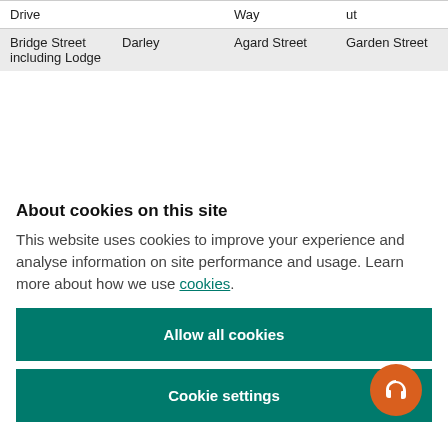| Drive |  | Way | ut |
| Bridge Street including Lodge | Darley | Agard Street | Garden Street |
About cookies on this site
This website uses cookies to improve your experience and analyse information on site performance and usage. Learn more about how we use cookies.
Allow all cookies
Cookie settings